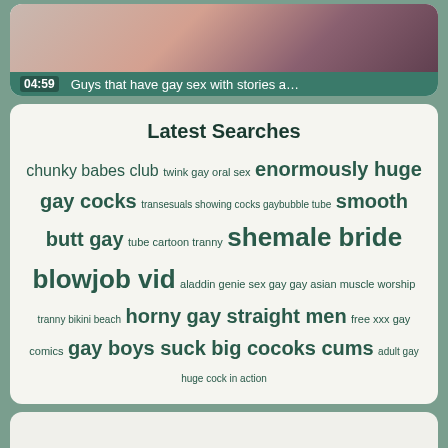[Figure (screenshot): Video thumbnail with green bar showing time 04:59 and title 'Guys that have gay sex with stories a...']
Latest Searches
chunky babes club twink gay oral sex enormously huge gay cocks transesuals showing cocks gaybubble tube smooth butt gay tube cartoon tranny shemale bride blowjob vid aladdin genie sex gay gay asian muscle worship tranny bikini beach horny gay straight men free xxx gay comics gay boys suck big cocoks cums adult gay huge cock in action
Remove Content   UP   Latest   Home
xvideos2in.com   https://xxx2.sex